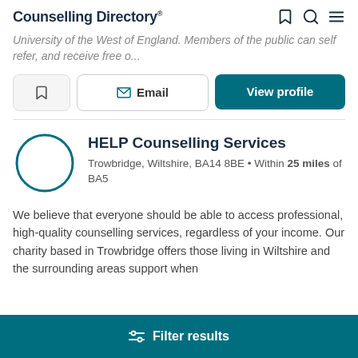Counselling Directory
University of the West of England. Members of the public can self refer, and receive free o...
Email | View profile
HELP Counselling Services
Trowbridge, Wiltshire, BA14 8BE • Within 25 miles of BA5
We believe that everyone should be able to access professional, high-quality counselling services, regardless of your income. Our charity based in Trowbridge offers those living in Wiltshire and the surrounding areas support when
Filter results